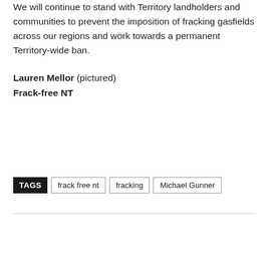We will continue to stand with Territory landholders and communities to prevent the imposition of fracking gasfields across our regions and work towards a permanent Territory-wide ban.
Lauren Mellor (pictured)
Frack-free NT
TAGS  frack free nt  fracking  Michael Gunner